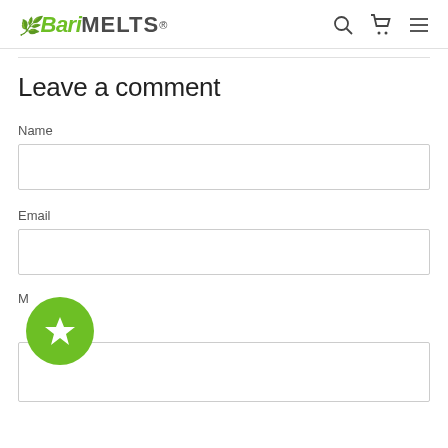BariMELTS
Leave a comment
Name
Email
M
[Figure (logo): Green circle with white star icon - rating/favorite badge]